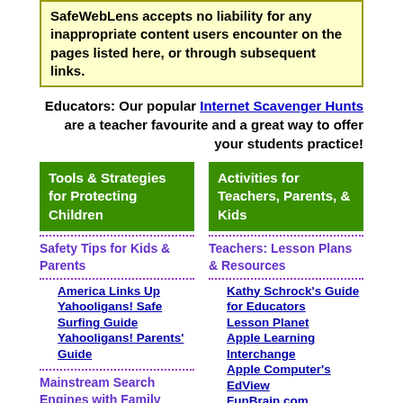SafeWebLens accepts no liability for any inappropriate content users encounter on the pages listed here, or through subsequent links.
Educators: Our popular Internet Scavenger Hunts are a teacher favourite and a great way to offer your students practice!
Tools & Strategies for Protecting Children
Activities for Teachers, Parents, & Kids
Safety Tips for Kids & Parents
Teachers: Lesson Plans & Resources
America Links Up
Yahooligans! Safe Surfing Guide
Yahooligans! Parents' Guide
Kathy Schrock's Guide for Educators
Lesson Planet
Apple Learning Interchange
Apple Computer's EdView
FunBrain.com
MSN Schoolhouse
EduFind
LessonPlansPage
Mainstream Search Engines with Family Filters
Altavista Family Filter